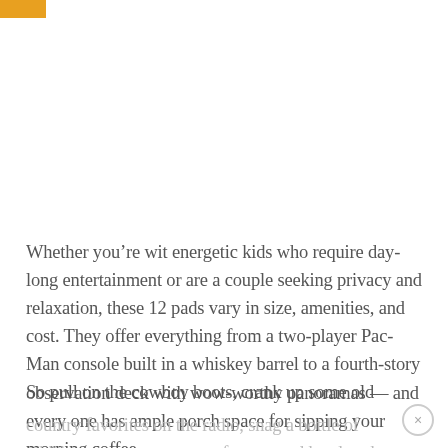[Figure (other): Orange decorative bar in top-left corner]
Whether you’re wit energetic kids who require day-long entertainment or are a couple seeking privacy and relaxation, these 12 pads vary in size, amenities, and cost. They offer everything from a two-player Pac-Man console built in a whiskey barrel to a fourth-story observation deck with wow-worthy panoramas — and every one has ample porch space for sipping your morning coffee.
So pull on the cowboy boots, crank up some old country favorites on the radio, snag a bottle of whiskey on your way out of town, and head to the